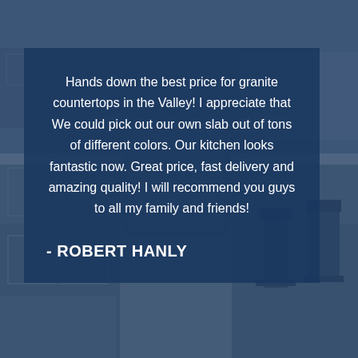[Figure (photo): Kitchen interior with granite countertops, wooden cabinets, bar stools, and tile floor, overlaid with a dark blue semi-transparent tint]
Hands down the best price for granite countertops in the Valley! I appreciate that We could pick out our own slab out of tons of different colors. Our kitchen looks fantastic now. Great price, fast delivery and amazing quality! I will recommend you guys to all my family and friends!
- ROBERT HANLY